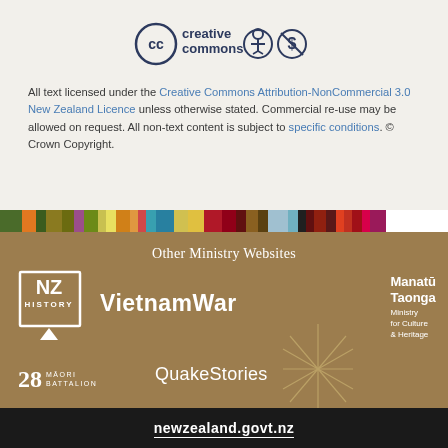[Figure (logo): Creative Commons logo with attribution (person icon) and non-commercial (no dollar sign) icons]
All text licensed under the Creative Commons Attribution-NonCommercial 3.0 New Zealand Licence unless otherwise stated. Commercial re-use may be allowed on request. All non-text content is subject to specific conditions. © Crown Copyright.
[Figure (infographic): Horizontal colorful bar strip with many color segments]
Other Ministry Websites
[Figure (logo): NZ History logo - white box with NZ HISTORY text and downward arrow]
[Figure (logo): VietnamWar logo text in bold white]
[Figure (logo): Manatū Taonga Ministry for Culture & Heritage logo with starburst graphic]
[Figure (logo): 28 Maori Battalion logo]
[Figure (logo): QuakeStories text logo]
newzealand.govt.nz